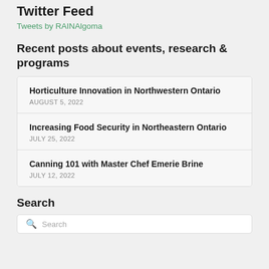Twitter Feed
Tweets by RAINAlgoma
Recent posts about events, research & programs
Horticulture Innovation in Northwestern Ontario
AUGUST 5, 2022
Increasing Food Security in Northeastern Ontario
JULY 25, 2022
Canning 101 with Master Chef Emerie Brine
JULY 12, 2022
Search